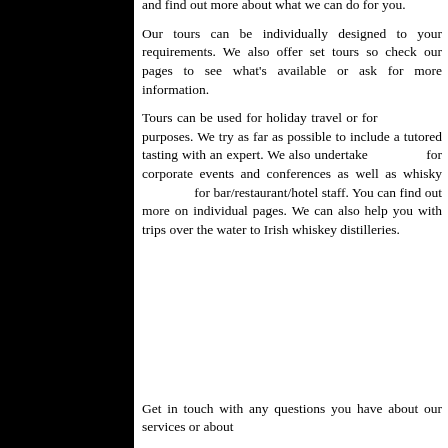and find out more about what we can do for you.
Our tours can be individually designed to your requirements. We also offer set tours so check our pages to see what's available or ask for more information.
Tours can be used for holiday travel or for               purposes. We try as far as possible to include a tutored tasting with an expert. We also undertake              for corporate events and conferences as well as whisky               for bar/restaurant/hotel staff. You can find out more on individual pages. We can also help you with trips over the water to Irish whiskey distilleries.
Get in touch with any questions you have about our services or about